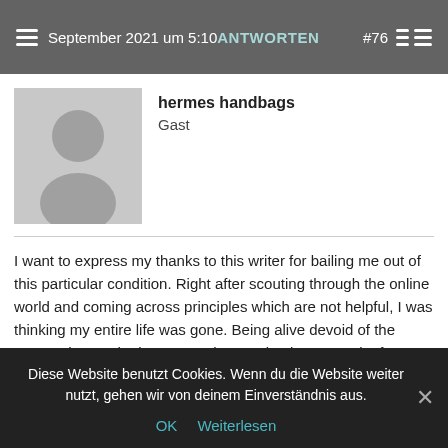September 2021 um 5:10 ANTWORTEN  #76…
[Figure (illustration): Gray avatar/user placeholder icon]
hermes handbags
Gast
I want to express my thanks to this writer for bailing me out of this particular condition. Right after scouting through the online world and coming across principles which are not helpful, I was thinking my entire life was gone. Being alive devoid of the approaches to the issues you have solved as a result of your short article is a crucial case, as well as ones that might have adversely affected my career if I hadn't discovered your blog. Your main capability and kindness in controlling a lot of things was helpful. I'm not sure what I would have done if I hadn't discovered such a solution like this. I'm able to at this moment relish my future. Thanks very
Diese Website benutzt Cookies. Wenn du die Website weiter nutzt, gehen wir von deinem Einverständnis aus.
OK  Weiterlesen